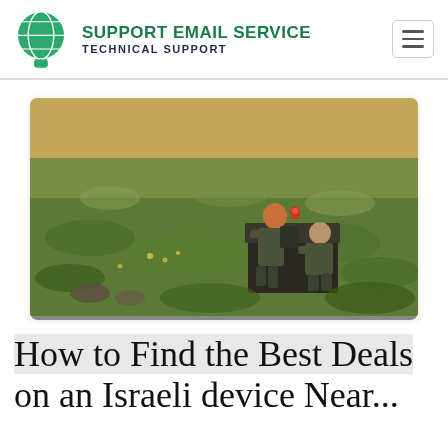SUPPORT EMAIL SERVICE — TECHNICAL SUPPORT
[Figure (photo): Two soldiers in camouflage military gear operating equipment in an outdoor field with dry grass and scrubland in the background.]
How to Find the Best Deals on an Israeli device Near...